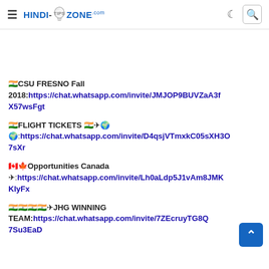HINDI-TIPS-ZONE.com — navigation header with hamburger menu, search icon
🇮🇳🎓CSU FRESNO Fall 2018:https://chat.whatsapp.com/invite/JMJOP9BUVZaA3fX57wsFgt
🇮🇳🎟FLIGHT TICKETS 🇮🇳✈🌍 🌍:https://chat.whatsapp.com/invite/D4qsjVTmxkC05sXH3O7sXr
🇨🇦🍁Opportunities Canada ✈:https://chat.whatsapp.com/invite/Lh0aLdp5J1vAm8JMKKIyFx
🇮🇳🇮🇳🇮🇳🇮🇳✈JHG WINNING TEAM:https://chat.whatsapp.com/invite/7ZEcruyTG8Q7Su3EaD